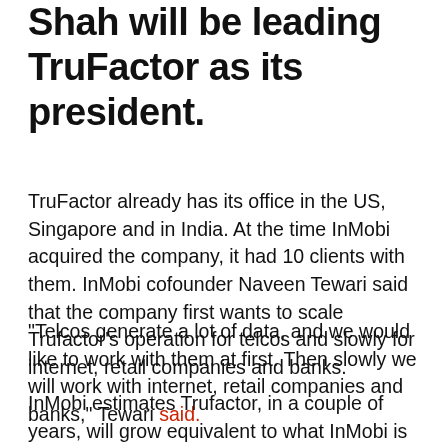Shah will be leading TruFactor as its president.
TruFactor already has its office in the US, Singapore and in India. At the time InMobi acquired the company, it had 10 clients with them. InMobi cofounder Naveen Tewari said that the company first wants to scale Trufactor’s operation for telcos and slowly for internet, retail companies and banks.
“Telcos generate a lot of data, and we would like to work with them at first. Then slowly we will work with internet, retail companies and banks,” Tewari said.
InMobi estimates Trufactor, in a couple of years, will grow equivalent to what InMobi is today if things work as planned, for which InMobi invested $100 Mn in the company. Trufactor has been designed to provide the